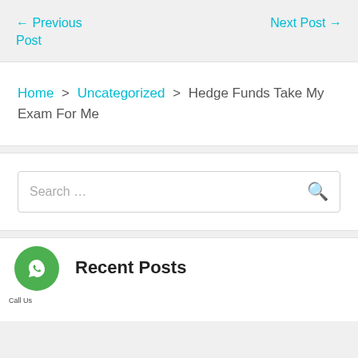← Previous Post   Next Post →
Home > Uncategorized > Hedge Funds Take My Exam For Me
Search …
Recent Posts